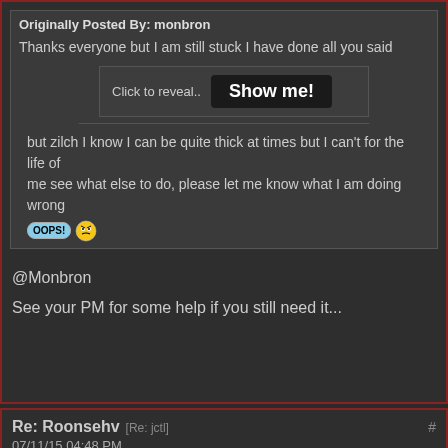Originally Posted By: monbron
Thanks everyone but I am still stuck I have done all you said
Click to reveal.. Show me!
but zilch I know I can be quite thick at times but I can't for the life of me see what else to do, please let me know what I am doing wrong
@Monbron
See your PM for some help if you still need it...
Re: Roonsehv [Re: jctl] 07/11/15 04:48 PM
cazziejoe  Settled Boomer  Joined: P  Posts: 97  New Yor
Thanks but that's the EASIEST way? Isn't that an awful amount of runnin